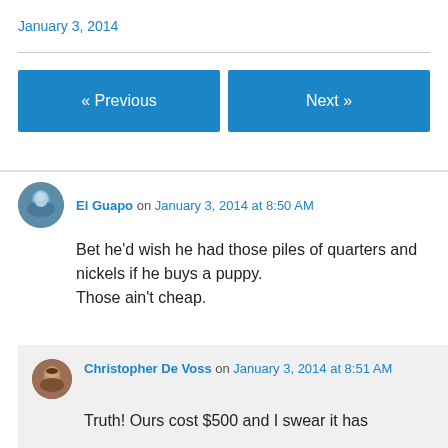January 3, 2014
« Previous   Next »
El Guapo on January 3, 2014 at 8:50 AM
Bet he'd wish he had those piles of quarters and nickels if he buys a puppy. Those ain't cheap.
Christopher De Voss on January 3, 2014 at 8:51 AM
Truth! Ours cost $500 and I swear it has